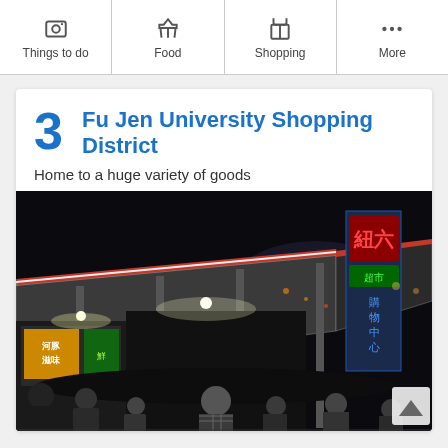Things to do | Food | Shopping | More
3 Fu Jen University Shopping District
Home to a huge variety of goods
[Figure (photo): Night market at Fu Jen University Shopping District, showing illuminated market stalls with red and white roof structures, LED signs with Chinese characters, and a crowd of shoppers at night.]